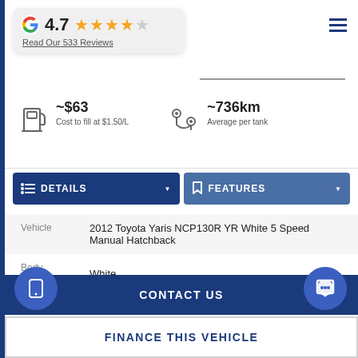[Figure (logo): Subaru oval logo with stars]
Melville Subaru
[Figure (infographic): Google review box showing 4.7 rating with 4.5 stars and link Read Our 533 Reviews]
~$63 Cost to fill at $1.50/L
~736km Average per tank
DETAILS
FEATURES
|  |  |
| --- | --- |
| Vehicle | 2012 Toyota Yaris NCP130R YR White 5 Speed Manual Hatchback |
| Body Colour | White |
CONTACT US
FINANCE THIS VEHICLE